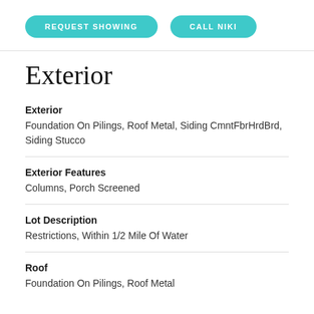[Figure (other): Two teal/turquoise pill-shaped buttons labeled REQUEST SHOWING and CALL NIKI]
Exterior
Exterior
Foundation On Pilings, Roof Metal, Siding CmntFbrHrdBrd, Siding Stucco
Exterior Features
Columns, Porch Screened
Lot Description
Restrictions, Within 1/2 Mile Of Water
Roof
Foundation On Pilings, Roof Metal